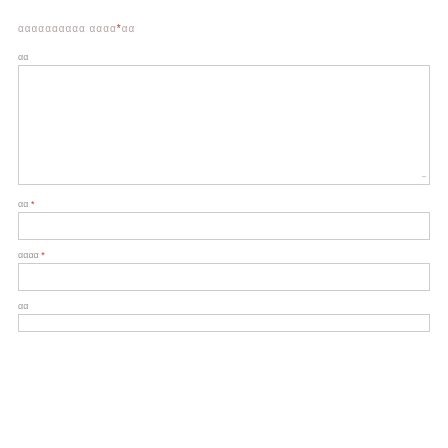Κατάσταση Αδειών*αα
αα
[Figure (other): Large empty text area input field with resize handle]
αα *
[Figure (other): Small empty input field]
αααα *
[Figure (other): Small empty input field]
αα